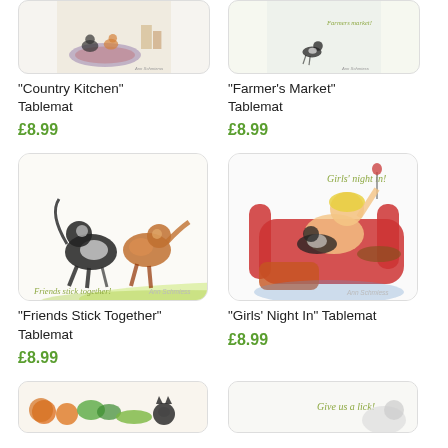[Figure (illustration): Country Kitchen tablemat illustration - partial view of cats in kitchen scene]
"Country Kitchen" Tablemat
£8.99
[Figure (illustration): Farmer's Market tablemat illustration - partial view of cat at farmers market]
"Farmer's Market" Tablemat
£8.99
[Figure (illustration): Friends Stick Together tablemat - two dogs/collies playing on grass, caption: Friends stick together!]
"Friends Stick Together" Tablemat
£8.99
[Figure (illustration): Girls Night In tablemat - woman relaxing in red armchair with cat and wine, caption: Girls' night in!]
"Girls' Night In" Tablemat
£8.99
[Figure (illustration): Bottom left tablemat - partial view, vegetables and cat]
[Figure (illustration): Bottom right tablemat - partial view, caption: Give us a lick!]